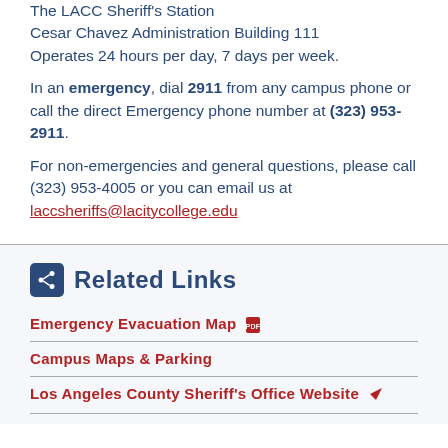The LACC Sheriff's Station
Cesar Chavez Administration Building 111
Operates 24 hours per day, 7 days per week.
In an emergency, dial 2911 from any campus phone or call the direct Emergency phone number at (323) 953-2911.
For non-emergencies and general questions, please call (323) 953-4005 or you can email us at laccsheriffs@lacitycollege.edu
Related Links
Emergency Evacuation Map
Campus Maps & Parking
Los Angeles County Sheriff's Office Website